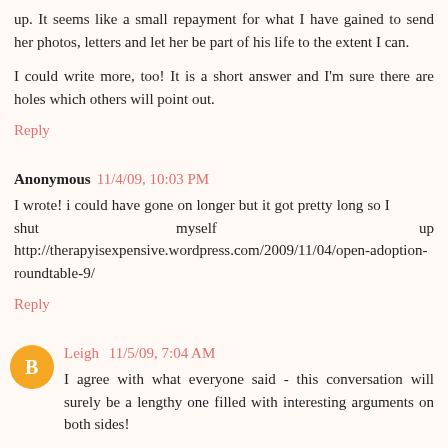up. It seems like a small repayment for what I have gained to send her photos, letters and let her be part of his life to the extent I can.
I could write more, too! It is a short answer and I'm sure there are holes which others will point out.
Reply
Anonymous 11/4/09, 10:03 PM
I wrote! i could have gone on longer but it got pretty long so I shut myself up http://therapyisexpensive.wordpress.com/2009/11/04/open-adoption-roundtable-9/
Reply
Leigh 11/5/09, 7:04 AM
I agree with what everyone said - this conversation will surely be a lengthy one filled with interesting arguments on both sides!